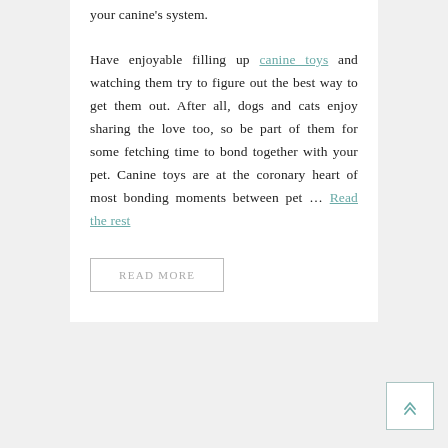your canine's system.
Have enjoyable filling up canine toys and watching them try to figure out the best way to get them out. After all, dogs and cats enjoy sharing the love too, so be part of them for some fetching time to bond together with your pet. Canine toys are at the coronary heart of most bonding moments between pet … Read the rest
READ MORE